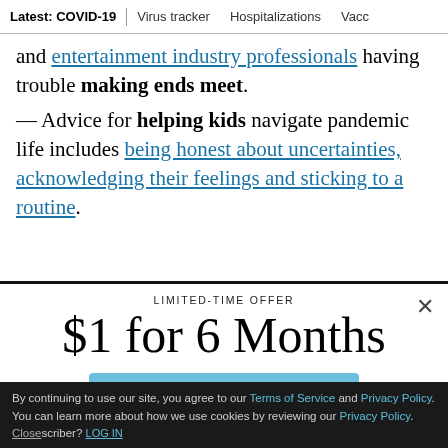Latest: COVID-19 | Virus tracker | Hospitalizations | Vacc
and entertainment industry professionals having trouble making ends meet.
— Advice for helping kids navigate pandemic life includes being honest about uncertainties, acknowledging their feelings and sticking to a routine.
LIMITED-TIME OFFER
$1 for 6 Months
SUBSCRIBE NOW
By continuing to use our site, you agree to our Terms of Service and Privacy Policy. You can learn more about how we use cookies by reviewing our Privacy Policy. Close Already a subscriber? LOG IN